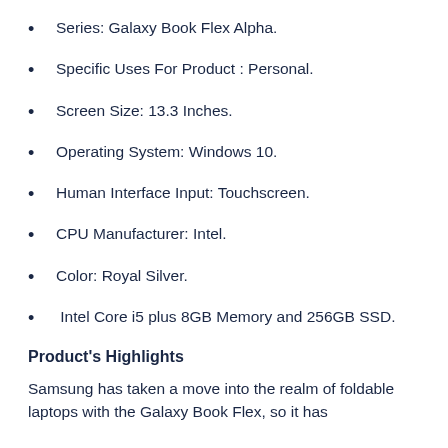Series: Galaxy Book Flex Alpha.
Specific Uses For Product : Personal.
Screen Size: 13.3 Inches.
Operating System: Windows 10.
Human Interface Input: Touchscreen.
CPU Manufacturer: Intel.
Color: Royal Silver.
Intel Core i5 plus 8GB Memory and 256GB SSD.
Product's Highlights
Samsung has taken a move into the realm of foldable laptops with the Galaxy Book Flex, so it has